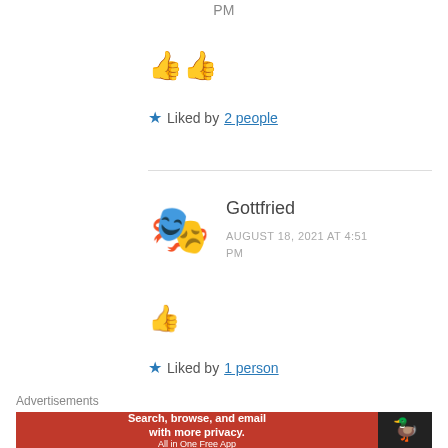PM
👍👍
★ Liked by 2 people
Gottfried
AUGUST 18, 2021 AT 4:51 PM
👍
★ Liked by 1 person
Advertisements
[Figure (screenshot): DuckDuckGo advertisement banner with orange background. Text reads: Search, browse, and email with more privacy. All in One Free App. DuckDuckGo logo on dark right panel.]